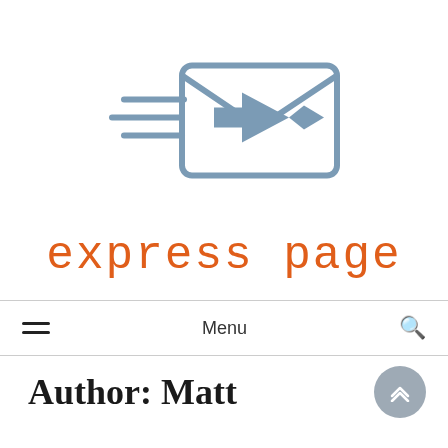[Figure (logo): Express Page logo: envelope with speed lines and a forward arrow, in steel blue color]
express page
Menu
Author: Matt